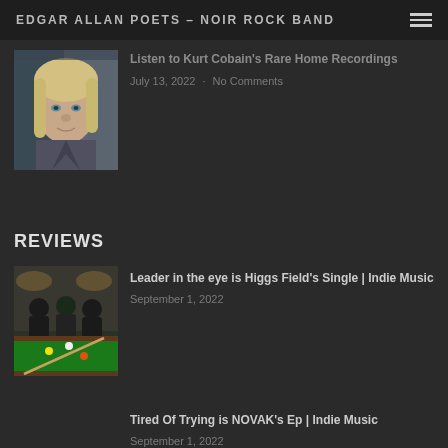EDGAR ALLAN POETS – NOIR ROCK BAND
Listen to Kurt Cobain's Rare Home Recordings
July 13, 2022 · No Comments
REVIEWS
[Figure (photo): Group of people around a pool/billiards table in a bar setting]
Leader in the eye is Higgs Field's Single | Indie Music
September 1, 2022
Tired Of Trying is NOVAK's Ep | Indie Music
September 1, 2022